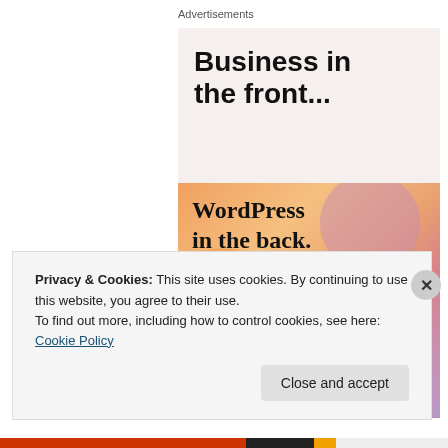Advertisements
[Figure (illustration): WordPress VIP advertisement. Top section on light beige background reads 'Business in the front...' in large bold sans-serif. Bottom section has colorful gradient background with peach, orange, pink, and lavender blob shapes, text reads 'WordPress in the back.' in large serif font, WordPress W logo with 'vip' text on bottom left, and 'Learn more →' button on bottom right.]
REPORT THIS AD
Privacy & Cookies: This site uses cookies. By continuing to use this website, you agree to their use.
To find out more, including how to control cookies, see here: Cookie Policy
Close and accept